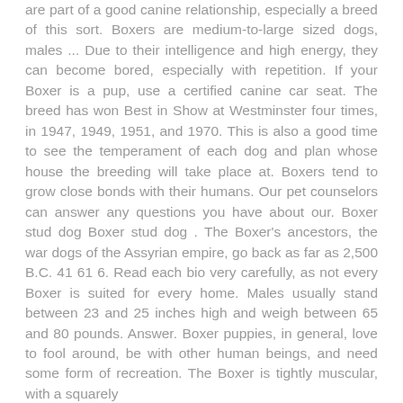are part of a good canine relationship, especially a breed of this sort. Boxers are medium-to-large sized dogs, males ... Due to their intelligence and high energy, they can become bored, especially with repetition. If your Boxer is a pup, use a certified canine car seat. The breed has won Best in Show at Westminster four times, in 1947, 1949, 1951, and 1970. This is also a good time to see the temperament of each dog and plan whose house the breeding will take place at. Boxers tend to grow close bonds with their humans. Our pet counselors can answer any questions you have about our. Boxer stud dog Boxer stud dog . The Boxer's ancestors, the war dogs of the Assyrian empire, go back as far as 2,500 B.C. 41 61 6. Read each bio very carefully, as not every Boxer is suited for every home. Males usually stand between 23 and 25 inches high and weigh between 65 and 80 pounds. Answer. Boxer puppies, in general, love to fool around, be with other human beings, and need some form of recreation. The Boxer is tightly muscular, with a squarely proportioned body. Boxers tend to have short hair with...